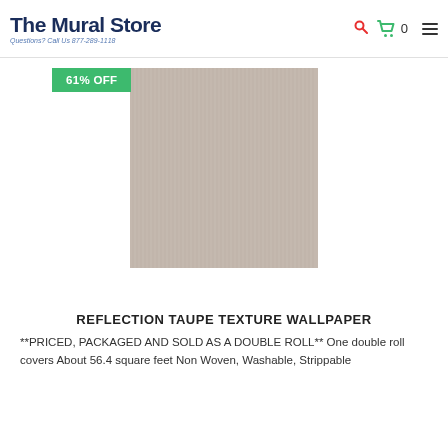The Mural Store — Questions? Call Us 877-289-1118
[Figure (screenshot): Wallpaper product image showing taupe/beige textured wallpaper with vertical linen-like striations, with a green 61% OFF badge overlay in the top-left corner]
REFLECTION TAUPE TEXTURE WALLPAPER
**PRICED, PACKAGED AND SOLD AS A DOUBLE ROLL** One double roll covers About 56.4 square feet Non Woven, Washable, Strippable